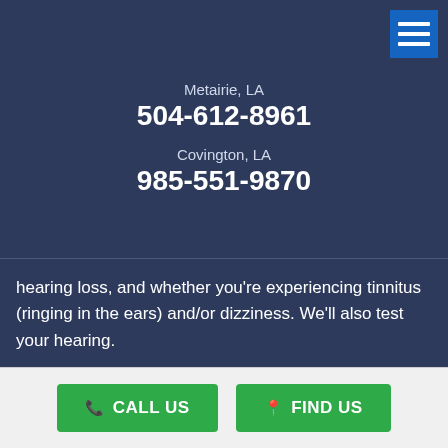Metairie, LA
504-612-8961
Covington, LA
985-551-9870
hearing loss, and whether you're experiencing tinnitus (ringing in the ears) and/or dizziness. We'll also test your hearing.
Based on your answers and your test results, our highly trained hearing experts may recommend hearing aids if the testing reveals a sensorineural hearing loss, which indicates damage to the inner ear (cochlea) or nerves that run from the cochlea
CALL US   FIND US